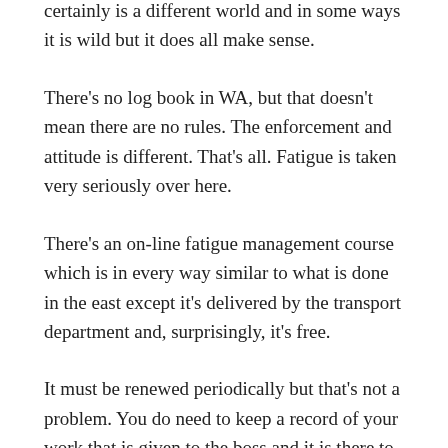certainly is a different world and in some ways it is wild but it does all make sense.
There's no log book in WA, but that doesn't mean there are no rules. The enforcement and attitude is different. That's all. Fatigue is taken very seriously over here.
There's an on-line fatigue management course which is in every way similar to what is done in the east except it's delivered by the transport department and, surprisingly, it's free.
It must be renewed periodically but that's not a problem. You do need to keep a record of your work that is given to the boss and it is there to be audited.
It's just not in a yellow pad with a red binder. The big